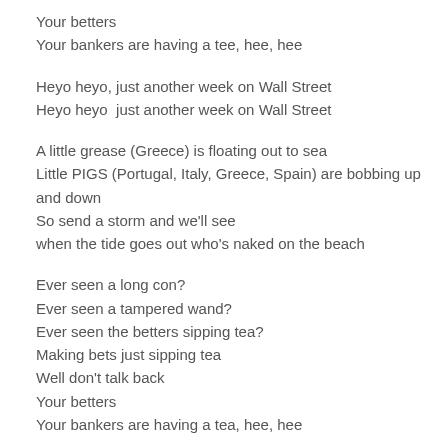Your betters
Your bankers are having a tee, hee, hee
Heyo heyo, just another week on Wall Street
Heyo heyo  just another week on Wall Street
A little grease (Greece) is floating out to sea
Little PIGS (Portugal, Italy, Greece, Spain) are bobbing up and down
So send a storm and we'll see
when the tide goes out who's naked on the beach
Ever seen a long con?
Ever seen a tampered wand?
Ever seen the betters sipping tea?
Making bets just sipping tea
Well don't talk back
Your betters
Your bankers are having a tea, hee, hee